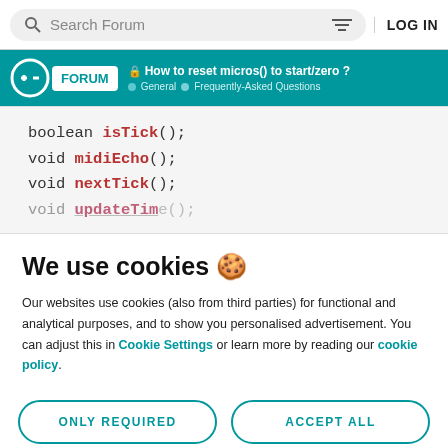Search Forum | LOG IN
FORUM | How to reset micros() to start/zero? | General > Frequently-Asked Questions
[Figure (screenshot): Code block showing Arduino C++ function declarations: boolean isTick(); void midiEcho(); void nextTick(); void updateTime(); (partially visible)]
We use cookies 🍪
Our websites use cookies (also from third parties) for functional and analytical purposes, and to show you personalised advertisement. You can adjust this in Cookie Settings or learn more by reading our cookie policy.
ONLY REQUIRED | ACCEPT ALL